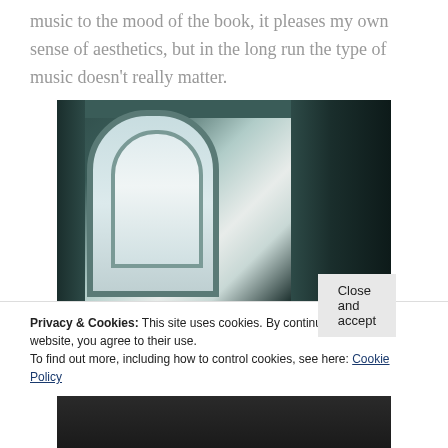music to the mood of the book, it pleases my own sense of aesthetics, but in the long run the type of music doesn't really matter.
[Figure (photo): Interior room photo showing an arched window with curtains in a dark teal/green room]
Privacy & Cookies: This site uses cookies. By continuing to use this website, you agree to their use.
To find out more, including how to control cookies, see here: Cookie Policy
[Figure (photo): Partial view of another photo at the bottom of the page]